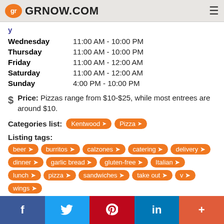GRNOW.COM
| Day | Hours |
| --- | --- |
| Wednesday | 11:00 AM - 10:00 PM |
| Thursday | 11:00 AM - 10:00 PM |
| Friday | 11:00 AM - 12:00 AM |
| Saturday | 11:00 AM - 12:00 AM |
| Sunday | 4:00 PM - 10:00 PM |
$ Price: Pizzas range from $10-$25, while most entrees are around $10.
Categories list: Kentwood Pizza
Listing tags: beer burritos calzones catering delivery dinner garlic bread gluten-free Italian lunch pizza sandwiches take out v wings
[Figure (screenshot): Dark black image section showing partial logo/illustration in white]